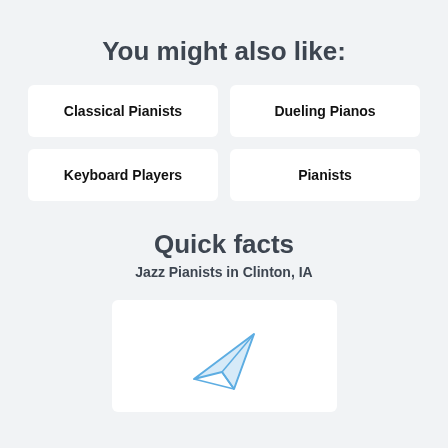You might also like:
Classical Pianists
Dueling Pianos
Keyboard Players
Pianists
Quick facts
Jazz Pianists in Clinton, IA
[Figure (illustration): Paper airplane icon in light blue outline style]